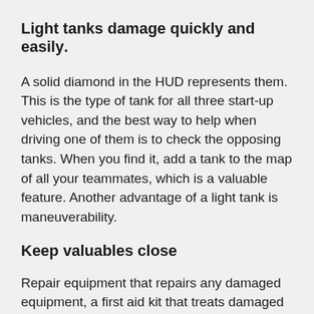Light tanks damage quickly and easily.
A solid diamond in the HUD represents them. This is the type of tank for all three start-up vehicles, and the best way to help when driving one of them is to check the opposing tanks. When you find it, add a tank to the map of all your teammates, which is a valuable feature. Another advantage of a light tank is maneuverability.
Keep valuables close
Repair equipment that repairs any damaged equipment, a first aid kit that treats damaged limbs, and a fire extinguisher are the best choices when it comes to consumables. Some